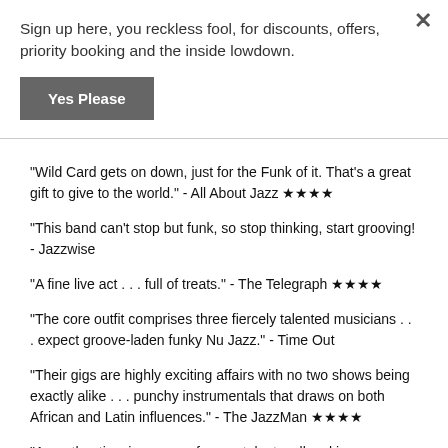Sign up here, you reckless fool, for discounts, offers, priority booking and the inside lowdown.
Yes Please
"Wild Card gets on down, just for the Funk of it. That's a great gift to give to the world." - All About Jazz ★★★★
"This band can't stop but funk, so stop thinking, start grooving! - Jazzwise
"A fine live act . . . full of treats." - The Telegraph ★★★★
"The core outfit comprises three fiercely talented musicians . . . expect groove-laden funky Nu Jazz." - Time Out
"Their gigs are highly exciting affairs with no two shows being exactly alike . . . punchy instrumentals that draws on both African and Latin influences." - The JazzMan ★★★★
"An authentic microcosm of super talents, all making exceptional music together." - Jazz In Europe "Wild Card are an exciting and innovative